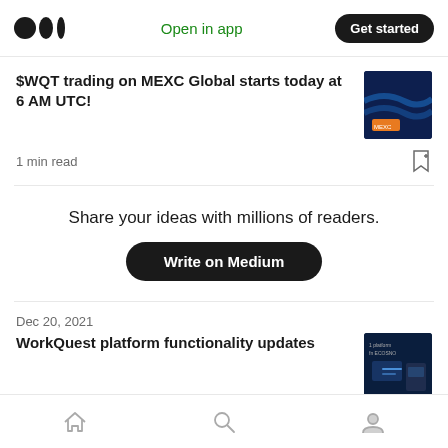Medium — Open in app | Get started
$WQT trading on MEXC Global starts today at 6 AM UTC!
1 min read
Share your ideas with millions of readers.
Write on Medium
Dec 20, 2021
WorkQuest platform functionality updates
2 min read
Home | Search | Profile